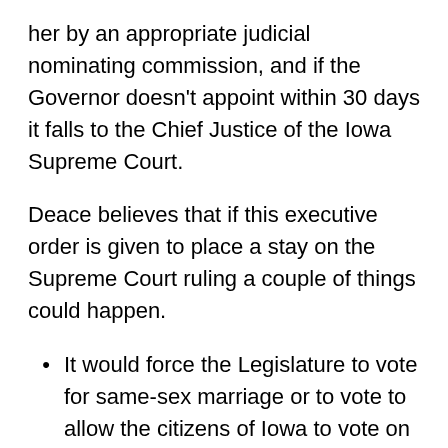her by an appropriate judicial nominating commission, and if the Governor doesn't appoint within 30 days it falls to the Chief Justice of the Iowa Supreme Court.
Deace believes that if this executive order is given to place a stay on the Supreme Court ruling a couple of things could happen.
It would force the Legislature to vote for same-sex marriage or to vote to allow the citizens of Iowa to vote on this manner.
Vander Plaats would be impeached.